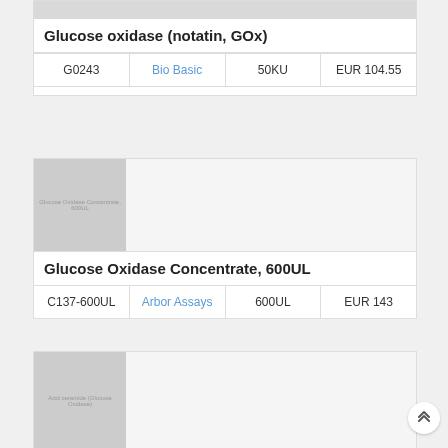| Glucose oxidase (notatin, GOx) |  |  |  |
| --- | --- | --- | --- |
| G0243 | Bio Basic | 50KU | EUR 104.55 |
[Figure (photo): Thumbnail image placeholder for Glucose Oxidase Concentrate, 600UL product]
Glucose Oxidase Concentrate, 600UL
| C137-600UL | Arbor Assays | 600UL | EUR 143 |
| --- | --- | --- | --- |
[Figure (photo): Thumbnail image placeholder for Acid ceramide (Glucose Oxidase) product]